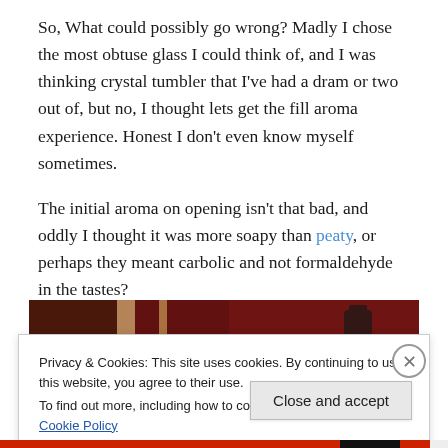So, What could possibly go wrong? Madly I chose the most obtuse glass I could think of, and I was thinking crystal tumbler that I've had a dram or two out of, but no, I thought lets get the fill aroma experience. Honest I don't even know myself sometimes.
The initial aroma on opening isn't that bad, and oddly I thought it was more soapy than peaty, or perhaps they meant carbolic and not formaldehyde in the tastes?
[Figure (photo): A dark photo showing a bottle of whisky against a reddish/dark background, partially cropped]
Privacy & Cookies: This site uses cookies. By continuing to use this website, you agree to their use.
To find out more, including how to control cookies, see here: Cookie Policy